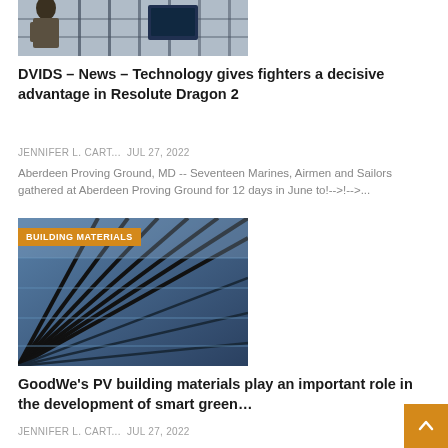[Figure (photo): Top portion of a photo showing a person in a military/outdoor setting with netting or fencing in background]
DVIDS – News – Technology gives fighters a decisive advantage in Resolute Dragon 2
JENNIFER L. CART...  Jul 27, 2022
Aberdeen Proving Ground, MD -- Seventeen Marines, Airmen and Sailors gathered at Aberdeen Proving Ground for 12 days in June to!-->!-->...
[Figure (photo): Building material – solar panels or glass facade tiles angled perspective, with BUILDING MATERIALS badge overlay]
GoodWe's PV building materials play an important role in the development of smart green…
JENNIFER L. CART...  Jul 27, 2022